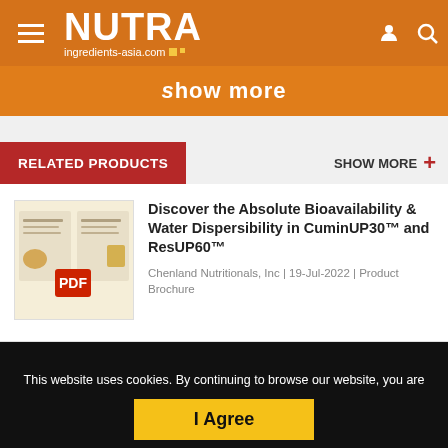NUTRA ingredients-asia.com
Show more
RELATED PRODUCTS
SHOW MORE +
Discover the Absolute Bioavailability & Water Dispersibility in CuminUP30™ and ResUP60™
Chenland Nutritionals, Inc | 19-Jul-2022 | Product Brochure
This website uses cookies. By continuing to browse our website, you are agreeing to our use of cookies. You can learn more about cookies by visiting our privacy & cookies policy page.
I Agree